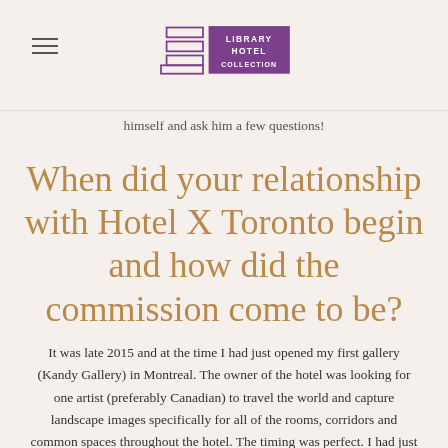Library Hotel Collection
himself and ask him a few questions!
When did your relationship with Hotel X Toronto begin and how did the commission come to be?
It was late 2015 and at the time I had just opened my first gallery (Kandy Gallery) in Montreal. The owner of the hotel was looking for one artist (preferably Canadian) to travel the world and capture landscape images specifically for all of the rooms, corridors and common spaces throughout the hotel. The timing was perfect. I had just been featured in an article discussing Canada's top ten photographers and I was the only landscape photographer. He presented this